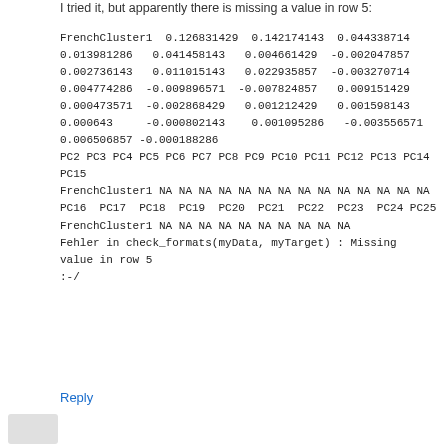I tried it, but apparently there is missing a value in row 5:
FrenchCluster1  0.126831429  0.142174143  0.044338714
0.013981286   0.041458143   0.004661429  -0.002047857
0.002736143   0.011015143   0.022935857  -0.003270714
0.004774286  -0.009896571  -0.007824857   0.009151429
0.000473571  -0.002868429   0.001212429   0.001598143
0.000643     -0.000802143    0.001095286   -0.003556571
0.006506857 -0.000188286
PC2 PC3 PC4 PC5 PC6 PC7 PC8 PC9 PC10 PC11 PC12 PC13 PC14 PC15
FrenchCluster1 NA NA NA NA NA NA NA NA NA NA NA NA NA NA
PC16  PC17  PC18  PC19  PC20  PC21  PC22  PC23  PC24 PC25
FrenchCluster1 NA NA NA NA NA NA NA NA NA NA
Fehler in check_formats(myData, myTarget) : Missing value in row 5
:-/
Reply